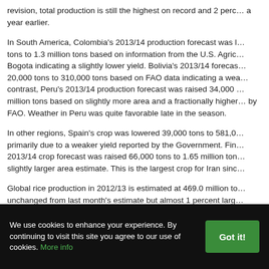revision, total production is still the highest on record and 2 percent above a year earlier.
In South America, Colombia's 2013/14 production forecast was lowered 50,000 tons to 1.3 million tons based on information from the U.S. Agricultural Attache in Bogota indicating a slightly lower yield. Bolivia's 2013/14 forecast was lowered 20,000 tons to 310,000 tons based on FAO data indicating a weaker yield. In contrast, Peru's 2013/14 production forecast was raised 34,000 tons to nearly 2.4 million tons based on slightly more area and a fractionally higher yield as reported by FAO. Weather in Peru was quite favorable late in the season.
In other regions, Spain's crop was lowered 39,000 tons to 581,000 tons primarily due to a weaker yield reported by the Government. Finland's 2013/14 crop forecast was raised 66,000 tons to 1.65 million tons based on a slightly larger area estimate. This is the largest crop for Iran since...
Global rice production in 2012/13 is estimated at 469.0 million tons, unchanged from last month's estimate but almost 1 percent larger than a year earlier. The only major revisions were in South America, with a smaller estimate in Colombia virtually offsetting a higher estimate for Peru. Australia's 2012/13 crop estimate was raised 5,000 tons to 840,0...
We use cookies to enhance your experience. By continuing to visit this site you agree to our use of cookies. More info